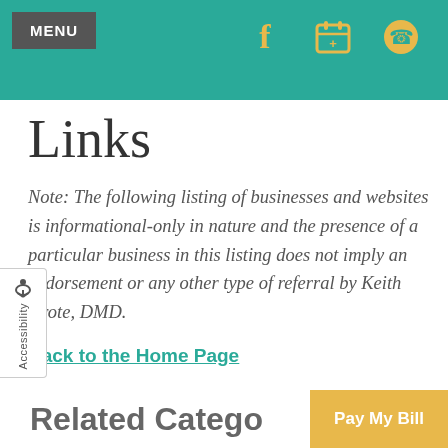MENU
Links
Note: The following listing of businesses and websites is informational-only in nature and the presence of a particular business in this listing does not imply an endorsement or any other type of referral by Keith Grote, DMD.
Back to the Home Page
Related Catego
Pay My Bill